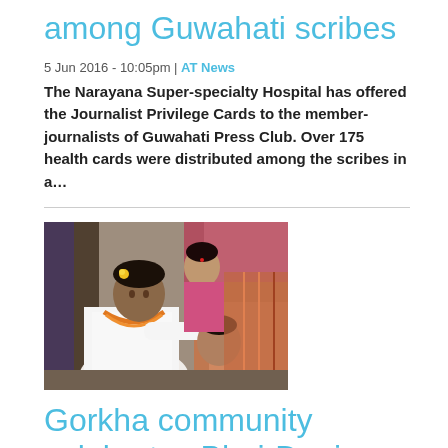among Guwahati scribes
5 Jun 2016 - 10:05pm | AT News
The Narayana Super-specialty Hospital has offered the Journalist Privilege Cards to the member-journalists of Guwahati Press Club. Over 175 health cards were distributed among the scribes in a…
[Figure (photo): Photo showing a man in white shirt with garland applying tilak or blessing a child, with a woman in background, at a cultural celebration.]
Gorkha community celebrates Bhai-Dooj